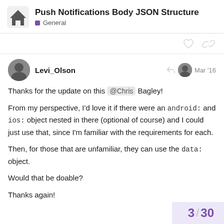Push Notifications Body JSON Structure — General
Levi_Olson — Mar '16
Thanks for the update on this @Chris Bagley!
From my perspective, I'd love it if there were an android: and ios: object nested in there (optional of course) and I could just use that, since I'm familiar with the requirements for each.
Then, for those that are unfamiliar, they can use the data: object.
Would that be doable?
Thanks again!
3 / 30